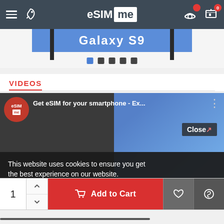eSIM me — navigation bar with hamburger menu, rocket icon, logo, graduation cap icon, cart icon with badge 0
[Figure (screenshot): Galaxy S9 promotional slider banner with blue background, vertical black bars on sides, and navigation dots below]
VIDEOS
[Figure (screenshot): Video thumbnail: Get eSIM for your smartphone - Ex... with eSIM me logo icon and three-dot menu. Cookie consent overlay: This website uses cookies to ensure you get the best experience on our website. Privacy Policy. Close button visible.]
This website uses cookies to ensure you get the best experience on our website.
Privacy Policy